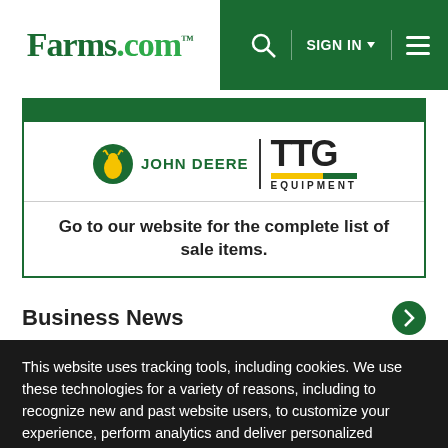Farms.com — SIGN IN — navigation menu
[Figure (logo): John Deere and TTG Equipment logos with text: Go to our website for the complete list of sale items.]
Business News
This website uses tracking tools, including cookies. We use these technologies for a variety of reasons, including to recognize new and past website users, to customize your experience, perform analytics and deliver personalized advertising on our sites, apps and newsletters and across the Internet based on your interests. You agree to our Privacy Policy and Terms of Access by clicking I agree.